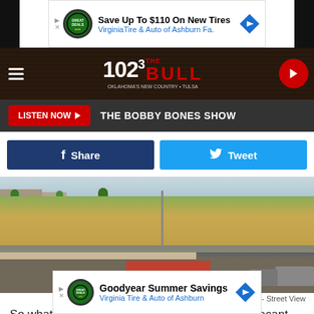[Figure (screenshot): Advertisement banner for Virginia Tire & Auto of Ashburn - Save Up To $110 On New Tires]
[Figure (screenshot): 102.3 The Bull radio station navigation bar with hamburger menu, logo, and play button]
[Figure (screenshot): Listen Now button with THE BOBBY BONES SHOW text on dark background]
[Figure (screenshot): Facebook Share and Twitter Tweet social media buttons]
[Figure (photo): Google Maps Street View of a vacant grass lot at an intersection with parked cars on the right side]
Google Maps - Street View
So what would you like to see open up on the vacant grass lot? Some people want to see restaurants, others want retail shops. [ad overlay] ays vacant [text continues] nough